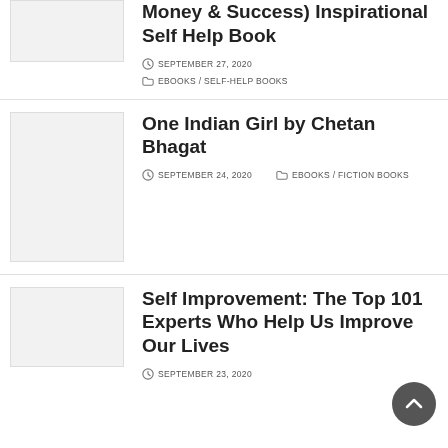Money & Success) Inspirational Self Help Book
SEPTEMBER 27, 2020
EBOOKS / SELF-HELP BOOKS
One Indian Girl by Chetan Bhagat
SEPTEMBER 24, 2020
EBOOKS / FICTION BOOKS
Self Improvement: The Top 101 Experts Who Help Us Improve Our Lives
SEPTEMBER 23, 2020